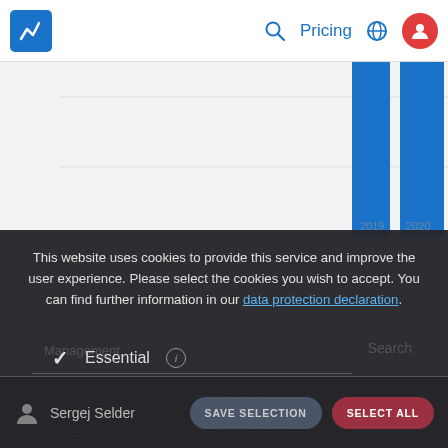Pricing
[Figure (bar-chart): Bar chart with y-axis labels 5 and 10; two tall blue bars visible on the right side]
This website uses cookies to provide this service and improve the user experience. Please select the cookies you wish to accept. You can find further information in our data protection declaration.
Essential
User statistics
Third Party Tracking
Sergej Selder
SAVE SELECTION
SELECT ALL